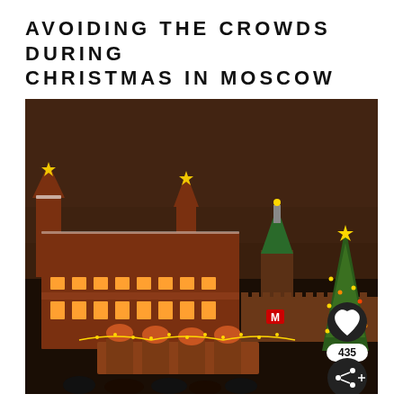AVOIDING THE CROWDS DURING CHRISTMAS IN MOSCOW
[Figure (photo): Night photograph of Moscow Red Square during Christmas time, showing illuminated historical buildings including the State Historical Museum and Kremlin tower, with a decorated Christmas tree, festive market lights, and crowds of people below a dark reddish-brown sky.]